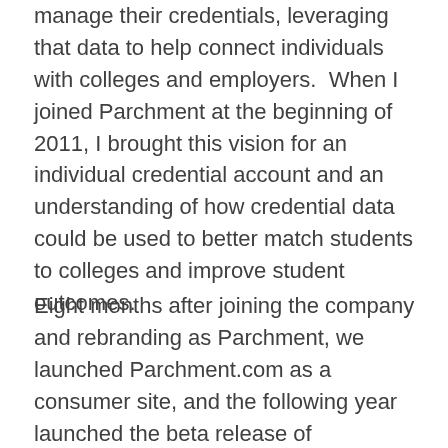manage their credentials, leveraging that data to help connect individuals with colleges and employers.  When I joined Parchment at the beginning of 2011, I brought this vision for an individual credential account and an understanding of how credential data could be used to better match students to colleges and improve student outcomes.
Eight months after joining the company and rebranding as Parchment, we launched Parchment.com as a consumer site, and the following year launched the beta release of Parchment Discover, putting the power of